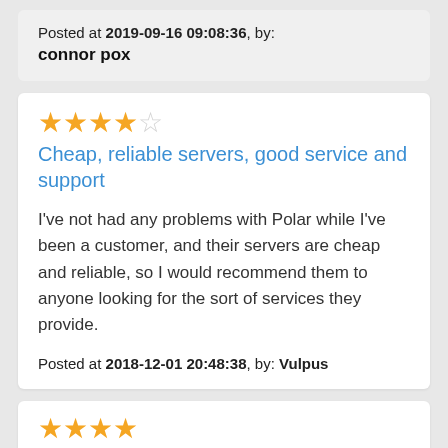Posted at 2019-09-16 09:08:36, by:
connor pox
[Figure (other): 4 out of 5 stars rating]
Cheap, reliable servers, good service and support
I've not had any problems with Polar while I've been a customer, and their servers are cheap and reliable, so I would recommend them to anyone looking for the sort of services they provide.
Posted at 2018-12-01 20:48:38, by: Vulpus
[Figure (other): 5 stars rating (partially visible)]